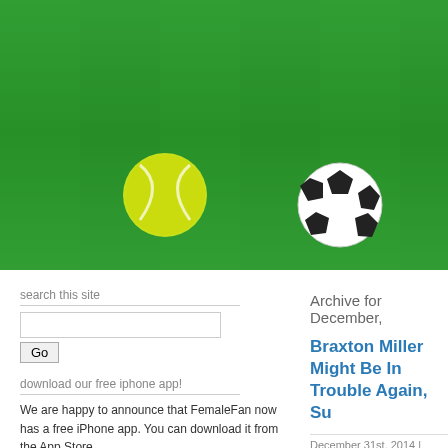[Figure (photo): Green grass background with sports balls (tennis ball, soccer ball, basketball) and a pink shield logo with 'FEMALE' text on a banner, partially cropped on the right side]
search this site
Go
download our free iphone app!
We are happy to announce that FemaleFan now has a free iPhone app. You can download it from the App Store.
Archive for December,
Braxton Miller Might Be In Trouble Again, Su
December 31st, 2014 | Category: foot
FOOTBALL